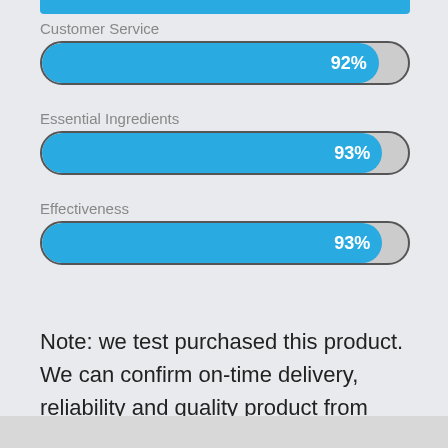[Figure (bar-chart): Customer Service / Essential Ingredients / Effectiveness]
Note: we test purchased this product. We can confirm on-time delivery, reliability and quality product from this brand.